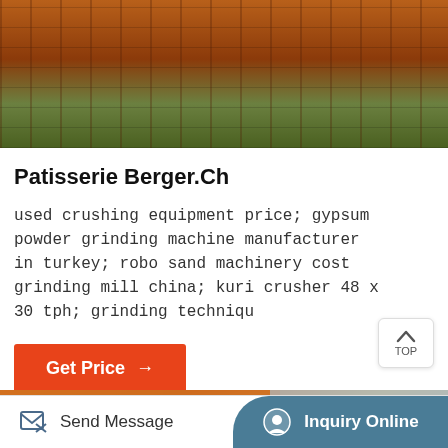[Figure (photo): Heavy transport truck with orange flatbed trailer carrying large industrial components, outdoor setting]
Patisserie Berger.Ch
used crushing equipment price; gypsum powder grinding machine manufacturer in turkey; robo sand machinery cost grinding mill china; kuri crusher 48 x 30 tph; grinding techniqu
Get Price →
[Figure (photo): Close-up of orange industrial machinery, possibly a ball mill or grinding mill cylinder with bolted flanges, industrial building in background]
Send Message   Inquiry Online